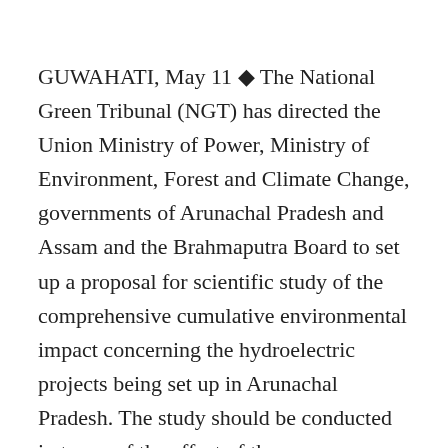GUWAHATI, May 11 ◆ The National Green Tribunal (NGT) has directed the Union Ministry of Power, Ministry of Environment, Forest and Climate Change, governments of Arunachal Pradesh and Assam and the Brahmaputra Board to set up a proposal for scientific study of the comprehensive cumulative environmental impact concerning the hydroelectric projects being set up in Arunachal Pradesh. The study should be conducted in terms of the effect of these hydroelectric projects on the downstream areas on water sources, biodiversity and socio-ecology of the people, said the NGT in its May 7 order.